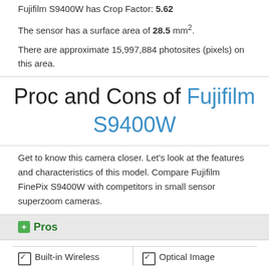Fujifilm S9400W has Crop Factor: 5.62
The sensor has a surface area of 28.5 mm².
There are approximate 15,997,884 photosites (pixels) on this area.
Proc and Cons of Fujifilm S9400W
Get to know this camera closer. Let's look at the features and characteristics of this model. Compare Fujifilm FinePix S9400W with competitors in small sensor superzoom cameras.
Pros
Built-in Wireless
Optical Image